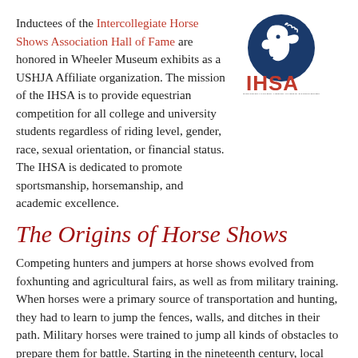Inductees of the Intercollegiate Horse Shows Association Hall of Fame are honored in Wheeler Museum exhibits as a USHJA Affiliate organization. The mission of the IHSA is to provide equestrian competition for all college and university students regardless of riding level, gender, race, sexual orientation, or financial status. The IHSA is dedicated to promote sportsmanship, horsemanship, and academic excellence.
[Figure (logo): IHSA logo — blue circle with white horse head silhouette, red 'IHSA' text below]
The Origins of Horse Shows
Competing hunters and jumpers at horse shows evolved from foxhunting and agricultural fairs, as well as from military training. When horses were a primary source of transportation and hunting, they had to learn to jump the fences, walls, and ditches in their path. Military horses were trained to jump all kinds of obstacles to prepare them for battle. Starting in the nineteenth century, local horse owners gathered to challenge each other to see whose horse could jump the highest or the widest or the smoothest, and horse shows became popular. In